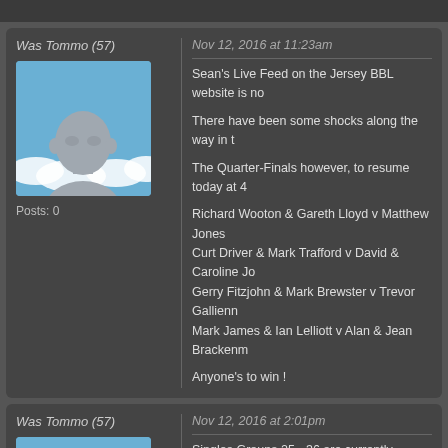Was Tommo (57)
Nov 12, 2016 at 11:23am
Sean's Live Feed on the Jersey BBL website is no

There have been some shocks along the way in t

The Quarter-Finals however, to resume today at 4

Richard Wooton & Gareth Lloyd v Matthew Jones
Curt Driver & Mark Trafford v David & Caroline Jo
Gerry Fitzjohn & Mark Brewster v Trevor Gallienn
Mark James & Ian Lelliott v Alan & Jean Brackenm

Anyone's to win !
Posts: 0
Was Tommo (57)
Nov 12, 2016 at 2:01pm
Singles Groups 25 - 36 are currently underway, th
Results are now on the JBBL website for Groups

Mark James, Phil Osborne, Chris Saville, Barry H
Group 6 was amazingly tight, with Luke Oliver win
Luke's dad Tom won Group 7 from K.T.;
Matt Jones scored an aggregate 30k to win Grou
Surrey's David Jones continued his form from yes
Jim Millward aggregates 32k to take Group 11 fro
and Matt 'Silent' Knight takes Group 12 from Hors